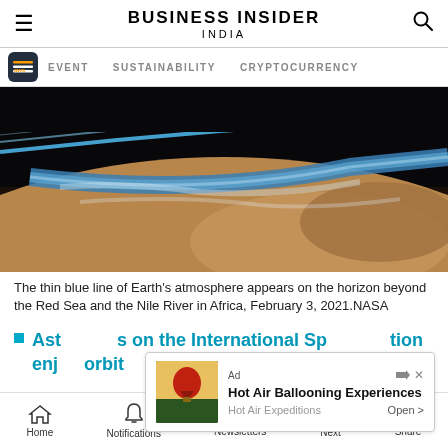BUSINESS INSIDER INDIA
EVENT   SUSTAINABILITY   CRYPTOCURRENCY
[Figure (photo): Aerial view of Earth from space showing the thin blue line of atmosphere on the horizon, the Red Sea and the Nile River in Africa, taken February 3, 2021 by NASA.]
The thin blue line of Earth's atmosphere appears on the horizon beyond the Red Sea and the Nile River in Africa, February 3, 2021.NASA
Astronauts on the International Space Station enjoy orbit
[Figure (screenshot): Advertisement overlay: Hot Air Ballooning Experiences by Hot Air Expeditions with an Open button.]
Home   Notifications   Newsletters   Next   Share